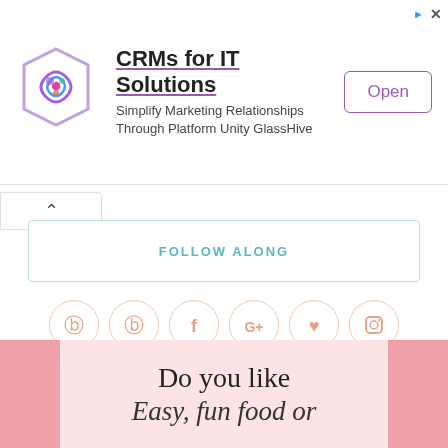[Figure (other): Ad banner: hexagonal logo icon with colorful swirl, text 'CRMs for IT Solutions', subtitle 'Simplify Marketing Relationships Through Platform Unity GlassHive', and an 'Open' button]
FOLLOW ALONG
[Figure (other): Row of 6 social media icon circles: Pinterest, Pinterest, Facebook, Google+, heart/Bloglovin, Instagram]
PLEASE JOIN US!!
[Figure (other): Pink banner with text 'Do you like Easy, fun food or']